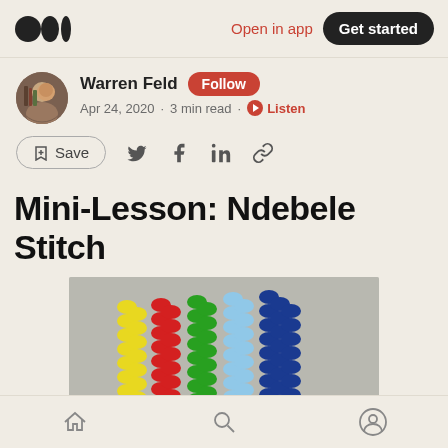Medium logo | Open in app | Get started
Warren Feld · Follow · Apr 24, 2020 · 3 min read · Listen
Save (social share icons)
Mini-Lesson: Ndebele Stitch
[Figure (photo): Photo of Ndebele stitch beadwork showing columns of yellow, red, green, light blue, and dark blue beads arranged in a flat tubular stitch pattern on a gray background]
Home | Search | Profile (bottom navigation)